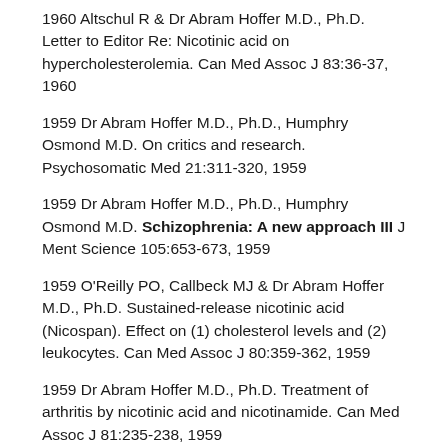1960 Altschul R & Dr Abram Hoffer M.D., Ph.D. Letter to Editor Re: Nicotinic acid on hypercholesterolemia. Can Med Assoc J 83:36-37, 1960
1959 Dr Abram Hoffer M.D., Ph.D., Humphry Osmond M.D. On critics and research. Psychosomatic Med 21:311-320, 1959
1959 Dr Abram Hoffer M.D., Ph.D., Humphry Osmond M.D. Schizophrenia: A new approach III J Ment Science 105:653-673, 1959
1959 O'Reilly PO, Callbeck MJ & Dr Abram Hoffer M.D., Ph.D. Sustained-release nicotinic acid (Nicospan). Effect on (1) cholesterol levels and (2) leukocytes. Can Med Assoc J 80:359-362, 1959
1959 Dr Abram Hoffer M.D., Ph.D. Treatment of arthritis by nicotinic acid and nicotinamide. Can Med Assoc J 81:235-238, 1959
1958 Dr Abram Hoffer M.D., Ph.D., O'Reilly PO &...